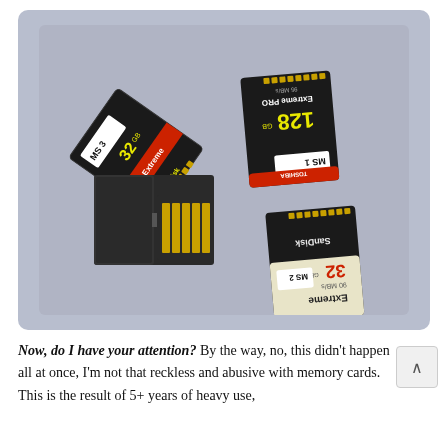[Figure (photo): Four SD memory cards (labeled MS 1, MS 2, MS 3, and one open/broken) scattered on a gray surface. Cards include SanDisk Extreme and SanDisk Extreme Pro models. MS 1 is 128GB, MS 2 and MS 3 are 32GB. One card appears open/disassembled showing the gold contacts.]
Now, do I have your attention? By the way, no, this didn't happen all at once, I'm not that reckless and abusive with memory cards. This is the result of 5+ years of heavy use,